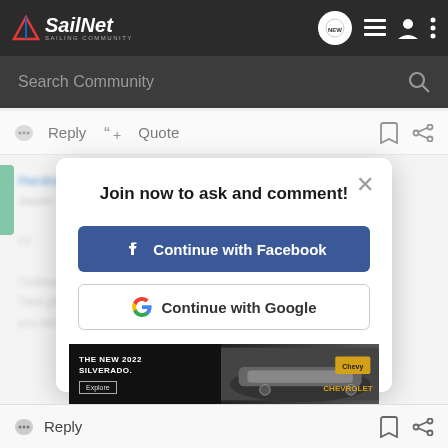SailNet SAILING COMMUNITY
Search Community
Reply  Quote
Join now to ask and comment!
Continue with Facebook
Continue with Google
or sign up with email
[Figure (screenshot): Ad banner for The New 2022 Silverado by Chevrolet with Explore button]
Reply